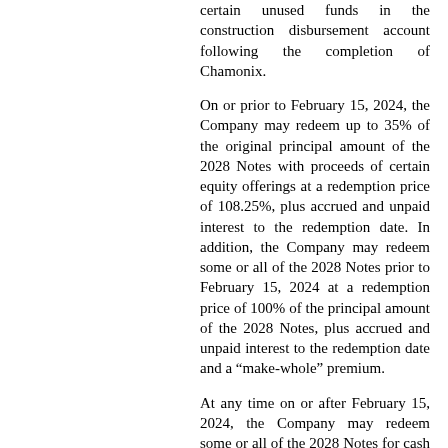certain unused funds in the construction disbursement account following the completion of Chamonix.
On or prior to February 15, 2024, the Company may redeem up to 35% of the original principal amount of the 2028 Notes with proceeds of certain equity offerings at a redemption price of 108.25%, plus accrued and unpaid interest to the redemption date. In addition, the Company may redeem some or all of the 2028 Notes prior to February 15, 2024 at a redemption price of 100% of the principal amount of the 2028 Notes, plus accrued and unpaid interest to the redemption date and a “make-whole” premium.
At any time on or after February 15, 2024, the Company may redeem some or all of the 2028 Notes for cash at the following redemption prices:
| Redemption Periods | Percentage Premium |
| --- | --- |
| February 15, 2024 to... |  |